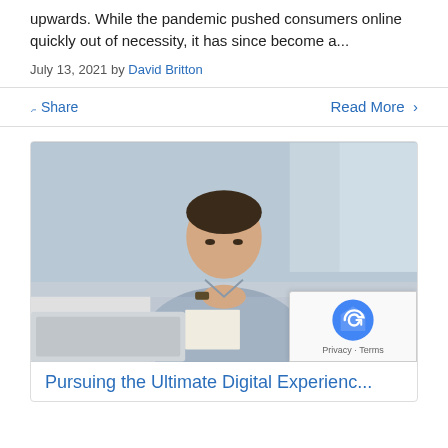upwards. While the pandemic pushed consumers online quickly out of necessity, it has since become a...
July 13, 2021 by David Britton
Share
Read More >
[Figure (photo): Person in striped shirt sitting at desk with laptop and tablet, hands clasped, looking down thoughtfully]
Pursuing the Ultimate Digital Experienc...